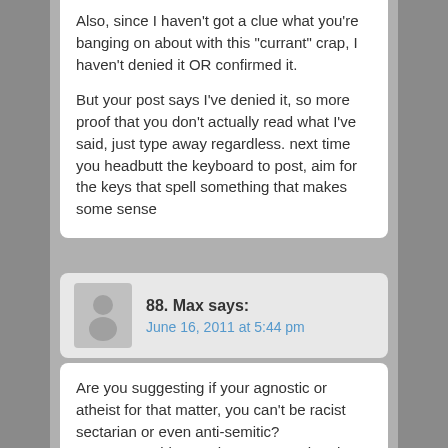Also, since I haven't got a clue what you're banging on about with this "currant" crap, I haven't denied it OR confirmed it.

But your post says I've denied it, so more proof that you don't actually read what I've said, just type away regardless. next time you headbutt the keyboard to post, aim for the keys that spell something that makes some sense
88. Max says:
June 16, 2011 at 5:44 pm
Are you suggesting if your agnostic or atheist for that matter, you can't be racist sectarian or even anti-semitic?
Are you stupid enough to suggest that the Irish Republican Army were a sectarian organisation?